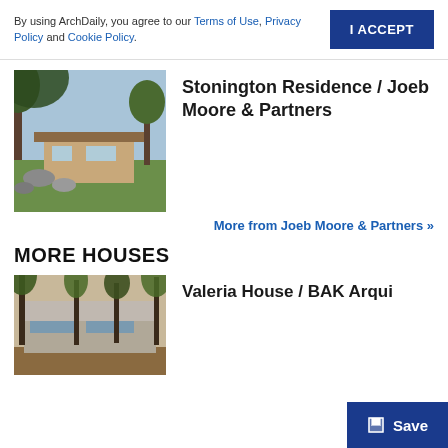By using ArchDaily, you agree to our Terms of Use, Privacy Policy and Cookie Policy.
I ACCEPT
Stonington Residence / Joeb Moore & Partners
[Figure (photo): Exterior photo of Stonington Residence showing a modern wood-and-stone house surrounded by trees and rocks on a green lawn]
More from Joeb Moore & Partners »
MORE HOUSES
Valeria House / BAK Arqui…
[Figure (photo): Exterior photo of Valeria House showing a modernist concrete building among tall trees]
Save